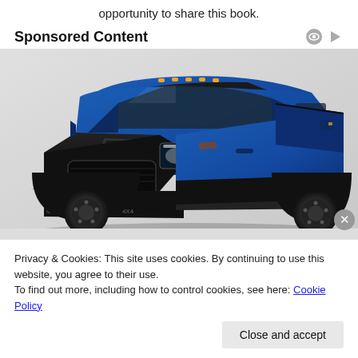opportunity to share this book.
Sponsored Content
[Figure (photo): A blue RAM pickup truck (Ram 2500 Power Wagon or similar) with black accents, off-road tires, and a winch, shown in a studio/grey background setting.]
Privacy & Cookies: This site uses cookies. By continuing to use this website, you agree to their use.
To find out more, including how to control cookies, see here: Cookie Policy
Close and accept